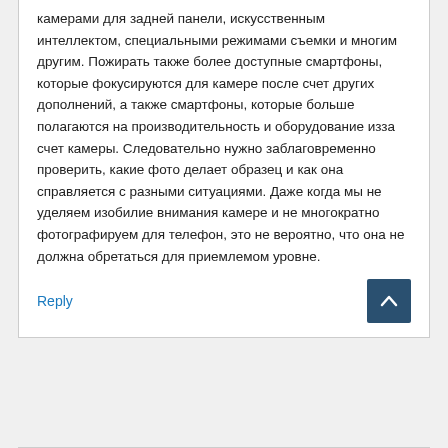камерами для задней панели, искусственным интеллектом, специальными режимами съемки и многим другим. Пожирать также более доступные смартфоны, которые фокусируются для камере после счет других дополнений, а также смартфоны, которые больше полагаются на производительность и оборудование изза счет камеры. Следовательно нужно заблаговременно проверить, какие фото делает образец и как она справляется с разными ситуациями. Даже когда мы не уделяем изобилие внимания камере и не многократно фотографируем для телефон, это не вероятно, что она не должна обретаться для приемлемом уровне.
Reply